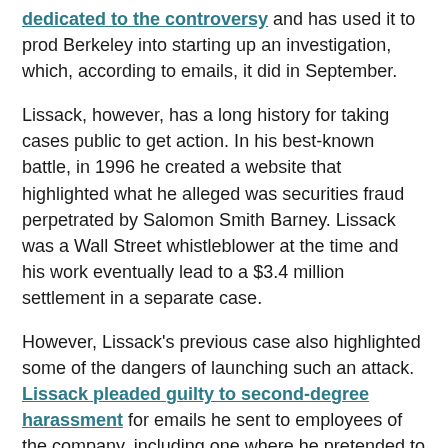dedicated to the controversy and has used it to prod Berkeley into starting up an investigation, which, according to emails, it did in September.
Lissack, however, has a long history for taking cases public to get action. In his best-known battle, in 1996 he created a website that highlighted what he alleged was securities fraud perpetrated by Salomon Smith Barney. Lissack was a Wall Street whistleblower at the time and his work eventually lead to a $3.4 million settlement in a separate case.
However, Lissack's previous case also highlighted some of the dangers of launching such an attack. Lissack pleaded guilty to second-degree harassment for emails he sent to employees of the company, including one where he pretended to be Sandy Weill, the chairman and CEO of Travelers Group, the then-parent company of Salomon Smith Barney.